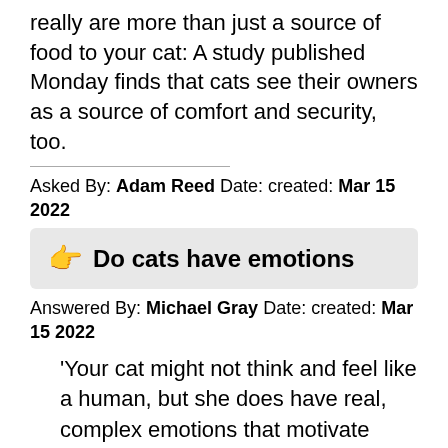really are more than just a source of food to your cat: A study published Monday finds that cats see their owners as a source of comfort and security, too.
Asked By: Adam Reed Date: created: Mar 15 2022
👉 Do cats have emotions
Answered By: Michael Gray Date: created: Mar 15 2022
'Your cat might not think and feel like a human, but she does have real, complex emotions that motivate much of her behaviour,' explains Vicky. In fact, your cat's emotions, particularly emotions like fear and anxiety, motivate many of her snap decisions and